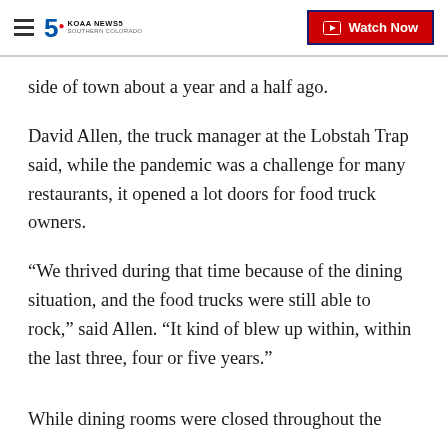KOAA NEWS5 SOUTHERN COLORADO | Watch Now
side of town about a year and a half ago.
David Allen, the truck manager at the Lobstah Trap said, while the pandemic was a challenge for many restaurants, it opened a lot doors for food truck owners.
“We thrived during that time because of the dining situation, and the food trucks were still able to rock,” said Allen. “It kind of blew up within, within the last three, four or five years.”
While dining rooms were closed throughout the